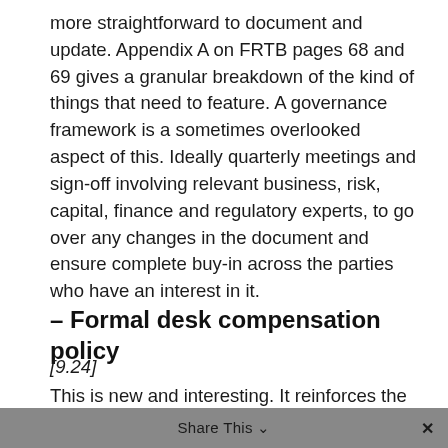more straightforward to document and update. Appendix A on FRTB pages 68 and 69 gives a granular breakdown of the kind of things that need to feature. A governance framework is a sometimes overlooked aspect of this. Ideally quarterly meetings and sign-off involving relevant business, risk, capital, finance and regulatory experts, to go over any changes in the document and ensure complete buy-in across the parties who have an interest in it.
– Formal desk compensation policy
[9.24]
This is new and interesting. It reinforces the idea that the desk is now a standalone business and not just part of a larger organic
Share This